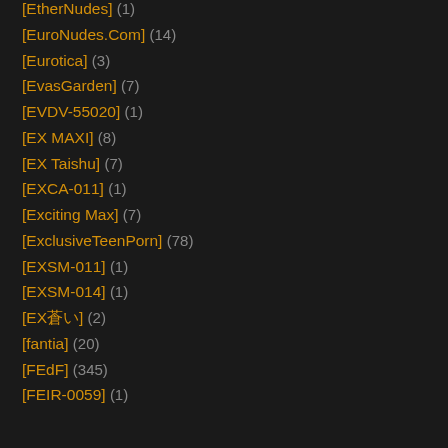[EtherNudes] (1)
[EuroNudes.Com] (14)
[Eurotica] (3)
[EvasGarden] (7)
[EVDV-55020] (1)
[EX MAXI] (8)
[EX Taishu] (7)
[EXCA-011] (1)
[Exciting Max] (7)
[ExclusiveTeenPorn] (78)
[EXSM-011] (1)
[EXSM-014] (1)
[EX蒼い] (2)
[fantia] (20)
[FEdF] (345)
[FEIR-0059] (1)